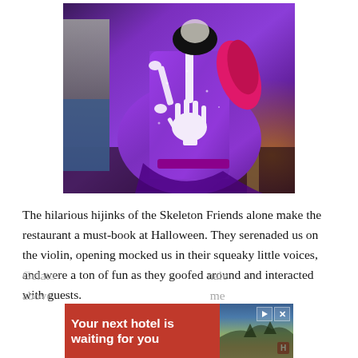[Figure (photo): Person wearing a purple sequin dress decorated with white skeleton hand/bone designs, pink ruffle accents, and a purple belt. The photo shows a Halloween costume performer in a restaurant setting with warm ambient lighting in the background.]
The hilarious hijinks of the Skeleton Friends alone make the restaurant a must-book at Halloween. They serenaded us on the violin, opening mocked us in their squeaky little voices, and were a ton of fun as they goofed around and interacted with guests.
[Figure (screenshot): Advertisement banner with red background reading 'Your next hotel is waiting for you' with a hotel/landscape image on the right and navigation controls.]
Gelato... hale above... me